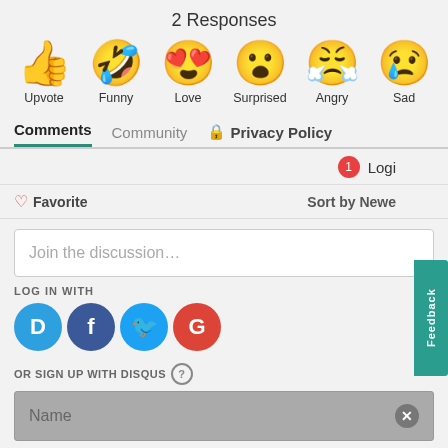2 Responses
[Figure (infographic): Six emoji reaction icons in a row: thumbs up (Upvote), laughing face with tongue (Funny), heart-eyes face (Love), surprised face (Surprised), angry/crying face (Angry), sad face with tear (Sad)]
Comments   Community   🔒 Privacy Policy
🔔1   Logi...
♡ Favorite   Sort by Newest
Join the discussion…
LOG IN WITH
[Figure (infographic): Four social login icons: Disqus (blue speech bubble with D), Facebook (dark blue circle with f), Twitter (light blue circle with bird), Google (red circle with G)]
OR SIGN UP WITH DISQUS ?
Name